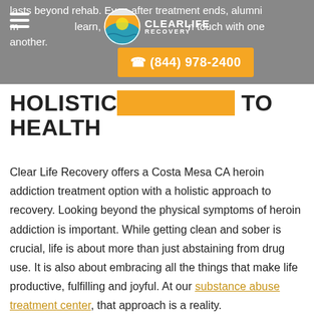lasts beyond rehab. Even after treatment ends, alumni may learn, grow and stay in touch with one another.
[Figure (logo): Clear Life Recovery logo with circular emblem and text]
HOLISTIC APPROACH TO HEALTH
Clear Life Recovery offers a Costa Mesa CA heroin addiction treatment option with a holistic approach to recovery. Looking beyond the physical symptoms of heroin addiction is important. While getting clean and sober is crucial, life is about more than just abstaining from drug use. It is also about embracing all the things that make life productive, fulfilling and joyful. At our substance abuse treatment center, that approach is a reality.